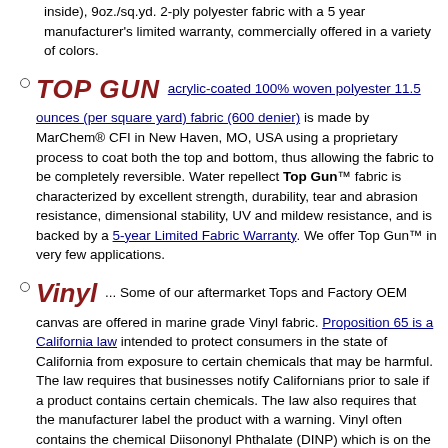inside), 9oz./sq.yd. 2-ply polyester fabric with a 5 year manufacturer's limited warranty, commercially offered in a variety of colors.
TOP GUN acrylic-coated 100% woven polyester 11.5 ounces (per square yard) fabric (600 denier) is made by MarChem® CFI in New Haven, MO, USA using a proprietary process to coat both the top and bottom, thus allowing the fabric to be completely reversible. Water repellect Top Gun™ fabric is characterized by excellent strength, durability, tear and abrasion resistance, dimensional stability, UV and mildew resistance, and is backed by a 5-year Limited Fabric Warranty. We offer Top Gun™ in very few applications.
Vinyl ... Some of our aftermarket Tops and Factory OEM canvas are offered in marine grade Vinyl fabric. Proposition 65 is a California law intended to protect consumers in the state of California from exposure to certain chemicals that may be harmful. The law requires that businesses notify Californians prior to sale if a product contains certain chemicals. The law also requires that the manufacturer label the product with a warning. Vinyl often contains the chemical Diisononyl Phthalate (DINP) which is on the list of chemicals known to the state of California to cause cancer, birth defects or other reproductive harm. DINP belongs to a family of